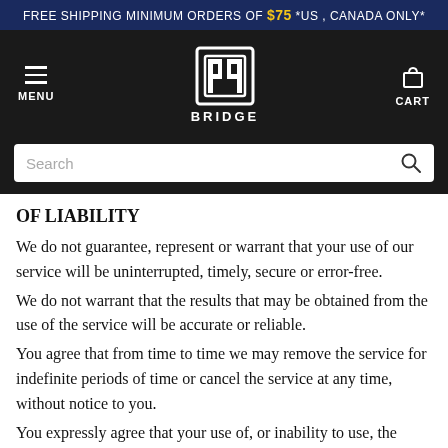FREE SHIPPING MINIMUM ORDERS OF $75 *US , CANADA ONLY*
[Figure (screenshot): Bridge brand navbar with hamburger menu (MENU), Bridge logo and wordmark (BRIDGE), and cart icon (CART)]
[Figure (screenshot): Search bar with placeholder text 'Search' and search icon]
OF LIABILITY
We do not guarantee, represent or warrant that your use of our service will be uninterrupted, timely, secure or error-free.
We do not warrant that the results that may be obtained from the use of the service will be accurate or reliable.
You agree that from time to time we may remove the service for indefinite periods of time or cancel the service at any time, without notice to you.
You expressly agree that your use of, or inability to use, the